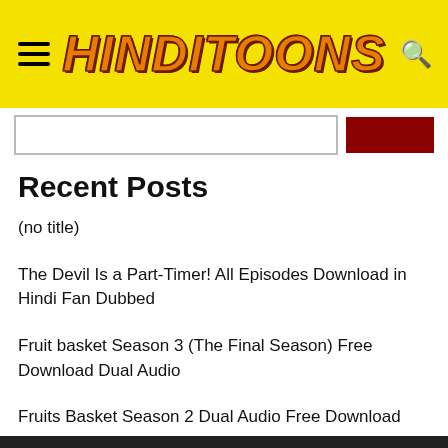HINDITOONS
Recent Posts
(no title)
The Devil Is a Part-Timer! All Episodes Download in Hindi Fan Dubbed
Fruit basket Season 3 (The Final Season) Free Download Dual Audio
Fruits Basket Season 2 Dual Audio Free Download
Fruits Basket Season 1 Dual Audio Free Download